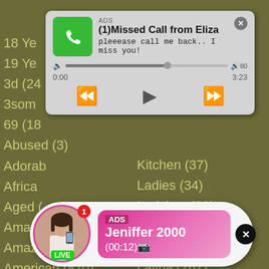[Figure (screenshot): Website category list in olive/khaki background with text items like '18 Ye', '19 Ye', '3d (24', '3som', '69 (18', 'Abused (3)', 'Adorab', 'Africa', 'Aged (', 'Amateur (3046)', 'Amazing (147)', 'American (870)', 'Anal (2067)', 'Angel (165)', 'Anus (8)', 'Asian (482)' on left; 'Kitchen (37)', 'Ladies (34)', 'Ladyboy (32)', 'Lap (48)', 'Latex (46)', 'Latina (267)', 'Leather (7)', 'Legs (29)' on right]
[Figure (screenshot): Audio player ad popup showing green phone icon, title '(1)Missed Call from Eliza', subtitle 'pleeease call me back.. I miss you!', progress bar at ~62%, time 0:00 to 3:23, playback controls]
[Figure (screenshot): Live notification popup showing woman avatar with pink border and LIVE badge, ADS label, name 'Jeniffer 2000', time '(00:12)' on pink gradient background]